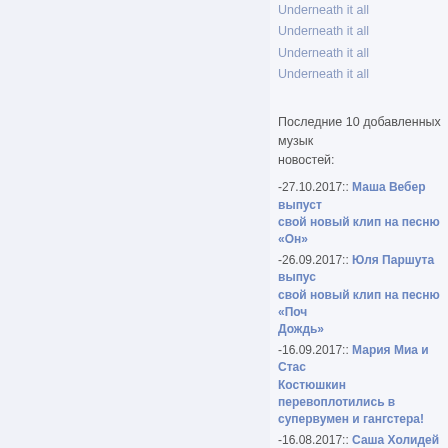Underneath it all
Underneath it all
Underneath it all
Underneath it all
Последние 10 добавленных музыкальных новостей:
-27.10.2017:: Маша Вебер выпустила свой новый клип на песню «Он»
-26.09.2017:: Юля Паршута выпустила свой новый клип на песню «Почему Дождь»
-16.09.2017:: Мария Миа и Стас Костюшкин перевоплотились в супервумен и гангстера!
-16.08.2017:: Саша Холидей поделилась с поклонниками новым синглом «my heart» и новостью о будущем ребенке!
-23.05.2017:: Юля Паршута выпустила новый клип «Навсегда»
-10.04.2017:: Юлия Паршута выпустила дебютный EP (мини-альбом) «На»
-06.04.2016:: 23 апреля в Москве установят 2 рекорда Гиннесса!
-07.12.2015:: DJ Hardwell выпустил мини-фильма о городах
-17.11.2015:: Звезда МУЗ-ТВ Рита выпускает свой первый сингл «жизнь»!